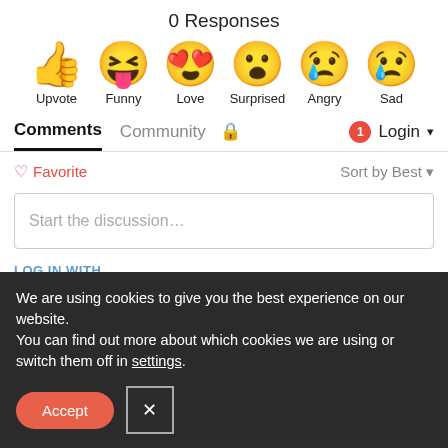0 Responses
[Figure (illustration): Row of six emoji reaction icons with labels: Upvote (thumbs up), Funny (laughing face with tongue), Love (heart eyes), Surprised (open mouth), Angry (crying/angry face), Sad (tear drop sad face)]
Comments  Community  🔒  1  Login
♡ Favorite   Sort by Best
Start the discussion…
LOG IN WITH
We are using cookies to give you the best experience on our website.
You can find out more about which cookies we are using or switch them off in settings.
Accept  ×